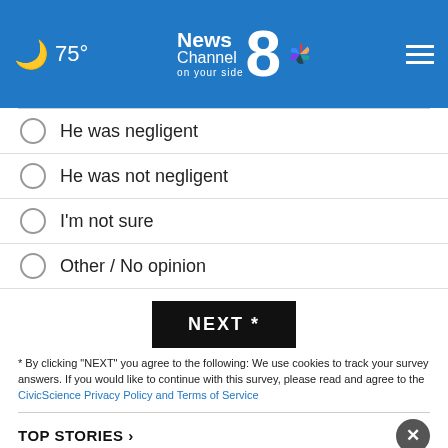75° News Channel 8 on your side
He was negligent
He was not negligent
I'm not sure
Other / No opinion
NEXT *
* By clicking "NEXT" you agree to the following: We use cookies to track your survey answers. If you would like to continue with this survey, please read and agree to the CivicScience Privacy Policy and Terms of Service
TOP STORIES ›
[Figure (screenshot): Advertisement banner for 1-800 ASK-GARY with FREE Auto Accident Helpline text]